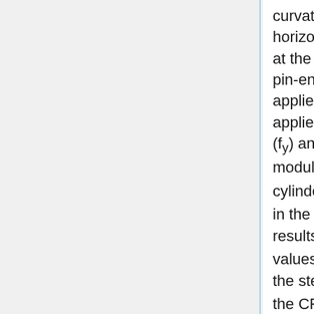curvature flexure . For this system, the horizontal and axial loads were again applied at the top end. The third system (TL) was a pin-ended beam-column with axial loads applied at the ends and a horizontal load applied at the mid-height. The yield strength (fy) and ultimate strength (fsu) of the steel, the modulus of elasticity (Es) of the steel, and the cylinder strength of the concrete (f'c) were kept in the database. From the experimental results, the maximum bending moment (Mu) values were recorded. The axial strength of the steel tube (Pso), nominal axial strength of the CFT section (Po), and ultimate bending moment (Mpc) were calculated according to the AIJ (1997) design code provisions using the measured material properties and placed in the database. The